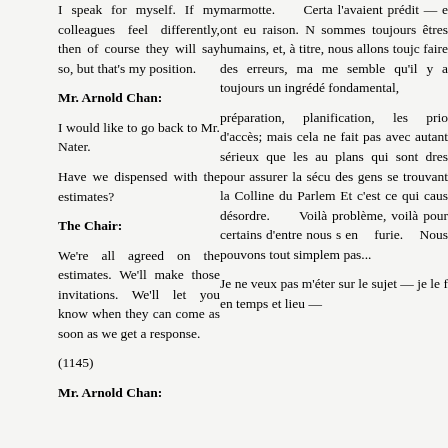I speak for myself. If my colleagues feel differently, then of course they will say so, but that's my position.
Mr. Arnold Chan:
I would like to go back to Mr. Nater.
Have we dispensed with the estimates?
The Chair:
We're all agreed on the estimates. We'll make those invitations. We'll let you know when they can come as soon as we get a response.
(1145)
Mr. Arnold Chan:
marmotte. Certa l'avaient prédit — e ont eu raison. N sommes toujours êtres humains, et, à titre, nous allons toujc faire des erreurs, ma me semble qu'il y a toujours un ingrédé fondamental,
préparation, planification, les prio d'accès; mais cela ne fait pas avec autant sérieux que les au plans qui sont dres pour assurer la sécu des gens se trouvant la Colline du Parlem Et c'est ce qui caus désordre. Voilà problème, voilà pour certains d'entre nous s en furie. Nous pouvons tout simplem pas...
Je ne veux pas m'éter sur le sujet — je le f en temps et lieu —